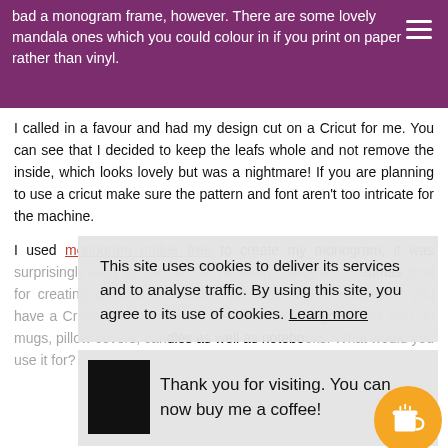bad a monogram frame, however. There are some lovely mandala ones which you could colour in if you print on paper rather than vinyl.
I called in a favour and had my design cut on a Cricut for me. You can see that I decided to keep the leafs whole and not remove the inside, which looks lovely but was a nightmare! If you are planning to use a cricut make sure the pattern and font aren't too intricate for the machine.
I used monogram maker free to create my monogram, it was surprisingly easy to use. Would be really handy at Christmas time for creating personalised cards, gift wrap and envelopes. If you have a Cricut, then the possibilities are endless you could also do mugs, pillow covers, candles as well as notebooks. What would you use it for?
This site uses cookies to deliver its services and to analyse traffic. By using this site, you agree to its use of cookies. Learn more
Thank you for visiting. You can now buy me a coffee!